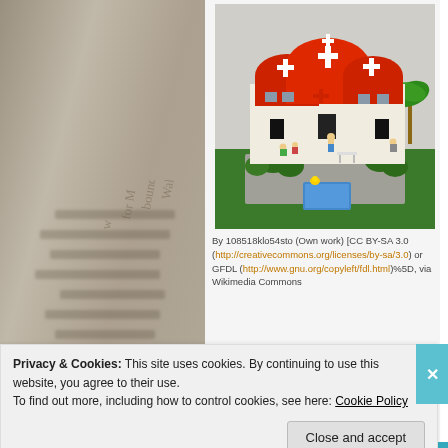[Figure (photo): A LEGO model of a building with red roofs, white walls with red cross symbols, green trees, minifigures, and a blue pool in front, displayed on a grey baseplate.]
By 108518klo54sto (Own work) [CC BY-SA 3.0 (http://creativecommons.org/licenses/by-sa/3.0) or GFDL (http://www.gnu.org/copyleft/fdl.html)%5D, via Wikimedia Commons
Advertisements
Privacy & Cookies: This site uses cookies. By continuing to use this website, you agree to their use.
To find out more, including how to control cookies, see here: Cookie Policy
Close and accept